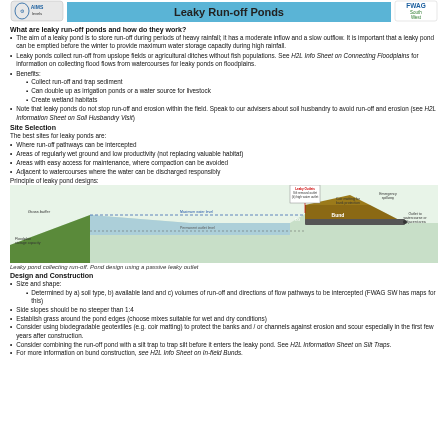Leaky Run-off Ponds
What are leaky run-off ponds and how do they work?
The aim of a leaky pond is to store run-off during periods of heavy rainfall; it has a moderate inflow and a slow outflow. It is important that a leaky pond can be emptied before the winter to provide maximum water storage capacity during high rainfall.
Leaky ponds collect run-off from upslope fields or agricultural ditches without fish populations. See H2L Info Sheet on Connecting Floodplains for information on collecting flood flows from watercourses for leaky ponds on floodplains.
Benefits:
Collect run-off and trap sediment
Can double up as irrigation ponds or a water source for livestock
Create wetland habitats
Note that leaky ponds do not stop run-off and erosion within the field. Speak to our advisers about soil husbandry to avoid run-off and erosion (see H2L Information Sheet on Soil Husbandry Visit)
Site Selection
The best sites for leaky ponds are:
Where run-off pathways can be intercepted
Areas of regularly wet ground and low productivity (not replacing valuable habitat)
Areas with easy access for maintenance, where compaction can be avoided
Adjacent to watercourses where the water can be discharged responsibly
Principle of leaky pond designs:
[Figure (engineering-diagram): Cross-section diagram of a leaky pond design showing grass buffer, floodplain storage capacity, maximum water level, permanent outlet level, bund, leaky outlets (silt removal outlet, high water outlet), coir matting for bank protection, emergency spillway, and outlet to watercourse or adjacent area.]
Leaky pond collecting run-off. Pond design using a passive leaky outlet
Design and Construction
Size and shape:
Determined by a) soil type, b) available land and c) volumes of run-off and directions of flow pathways to be intercepted (FWAG SW has maps for this)
Side slopes should be no steeper than 1:4
Establish grass around the pond edges (choose mixes suitable for wet and dry conditions)
Consider using biodegradable geotextiles (e.g. coir matting) to protect the banks and / or channels against erosion and scour especially in the first few years after construction.
Consider combining the run-off pond with a silt trap to trap silt before it enters the leaky pond. See H2L Information Sheet on Silt Traps.
For more information on bund construction, see H2L Info Sheet on In-field Bunds.